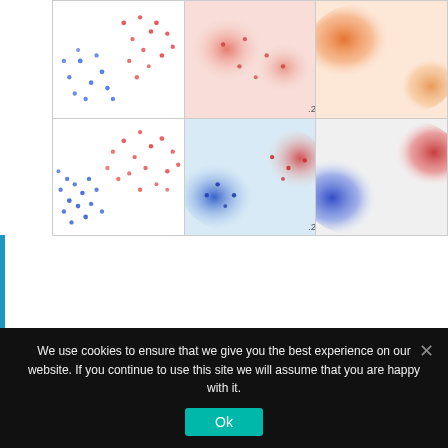[Figure (continuous-plot): 3x2 grid of scatter plots and density/heatmap visualizations showing two-class data distributions (red and blue points) with corresponding kernel density estimates and smooth heatmap representations. Top row shows sparse scatter, blob density map, and orange heatmap. Bottom row shows denser scatter, blue/red density contour map, and blue/red heatmap.]
UNCATEGORIZED
SECURITY – COULD SMARTGUN TECHNOLOGY STOP TRUCKS BEING USED AS WEAPONS?
We use cookies to ensure that we give you the best experience on our website. If you continue to use this site we will assume that you are happy with it.